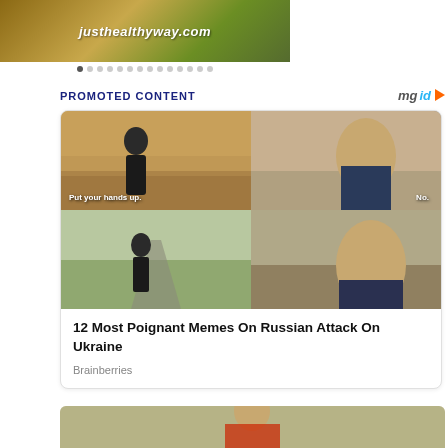[Figure (photo): Top banner advertisement for justhealthyway.com with navigation dots below]
PROMOTED CONTENT
[Figure (photo): Meme image grid showing four panels with Russian and Ukrainian flags overlaid on movie characters. Top-left: person with Russian flag, caption 'Put your hands up.' Top-right: person with Ukrainian flag, caption 'No.' Bottom-left: person with Russian flag. Bottom-right: person with Ukrainian flag.]
12 Most Poignant Memes On Russian Attack On Ukraine
Brainberries
[Figure (photo): Partial preview of another article image at the bottom of the page showing a person outdoors]